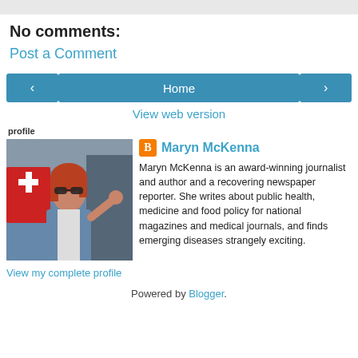No comments:
Post a Comment
[Figure (other): Navigation buttons: left arrow, Home, right arrow]
View web version
profile
[Figure (photo): Profile photo of Maryn McKenna, a woman with red hair and sunglasses waving at camera outdoors near a building with a Red Cross sign]
Maryn McKenna
Maryn McKenna is an award-winning journalist and author and a recovering newspaper reporter. She writes about public health, medicine and food policy for national magazines and medical journals, and finds emerging diseases strangely exciting.
View my complete profile
Powered by Blogger.